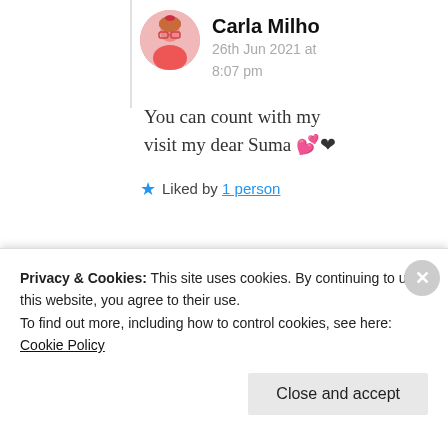Carla Milho
26th Jun 2021 at 8:07 pm
You can count with my visit my dear Suma 💕❤
★ Liked by 1 person
Suma Reddy
Privacy & Cookies: This site uses cookies. By continuing to use this website, you agree to their use.
To find out more, including how to control cookies, see here: Cookie Policy
Close and accept